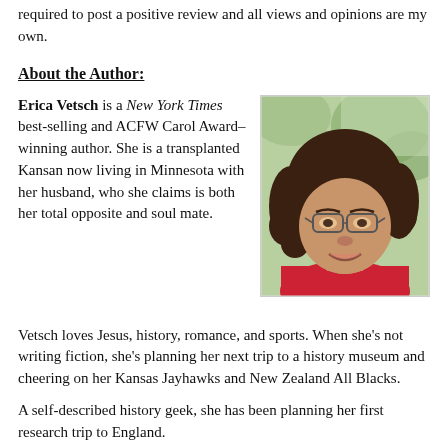required to post a positive review and all views and opinions are my own.
About the Author:
Erica Vetsch is a New York Times best-selling and ACFW Carol Award–winning author. She is a transplanted Kansan now living in Minnesota with her husband, who she claims is both her total opposite and soul mate.
[Figure (photo): Author photo of Erica Vetsch, a woman with curly brown hair and glasses, wearing a red top, photographed outdoors.]
Vetsch loves Jesus, history, romance, and sports. When she's not writing fiction, she's planning her next trip to a history museum and cheering on her Kansas Jayhawks and New Zealand All Blacks.
A self-described history geek, she has been planning her first research trip to England.